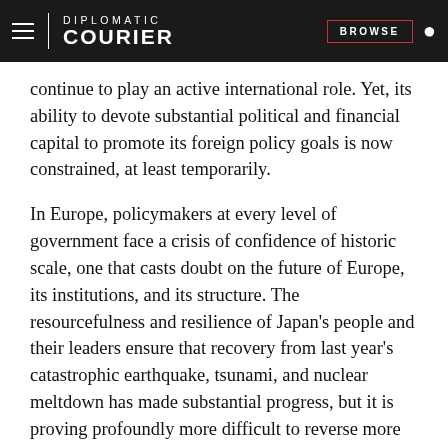DIPLOMATIC COURIER | BROWSE
continue to play an active international role. Yet, its ability to devote substantial political and financial capital to promote its foreign policy goals is now constrained, at least temporarily.
In Europe, policymakers at every level of government face a crisis of confidence of historic scale, one that casts doubt on the future of Europe, its institutions, and its structure. The resourcefulness and resilience of Japan's people and their leaders ensure that recovery from last year's catastrophic earthquake, tsunami, and nuclear meltdown has made substantial progress, but it is proving profoundly more difficult to reverse more than two decades of political and economic malaise. A generation ago, these were the world's powerhouses. With Canada, they made up the G7, the group of free-market democracies that dominated international